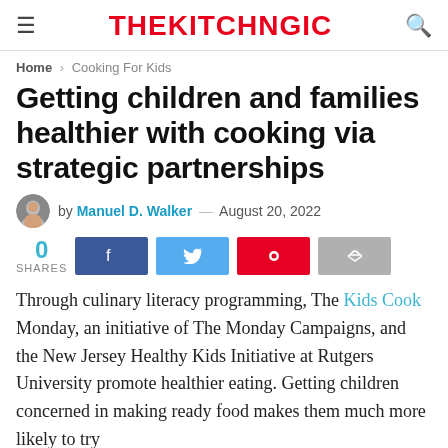THEKITCHNGIC
Home > Cooking For Kids
Getting children and families healthier with cooking via strategic partnerships
by Manuel D. Walker — August 20, 2022
0 SHARES
Through culinary literacy programming, The Kids Cook Monday, an initiative of The Monday Campaigns, and the New Jersey Healthy Kids Initiative at Rutgers University promote healthier eating. Getting children concerned in making ready food makes them much more likely to try